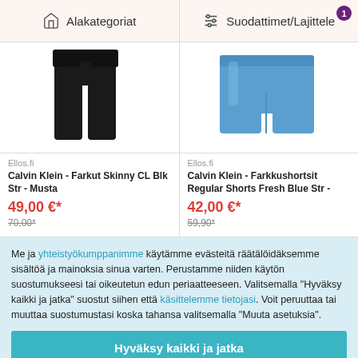Alakategoriat  |  Suodattimet/Lajittele
[Figure (photo): Black skinny jeans product photo on white background]
Ellos.fi
Calvin Klein - Farkut Skinny CL Blk Str - Musta
49,00 €*
70,00*
[Figure (photo): Blue denim shorts product photo on white background]
Ellos.fi
Calvin Klein - Farkkushortsit Regular Shorts Fresh Blue Str -
42,00 €*
59,90*
Me ja yhteistyökumppanimme käytämme evästeitä räätälöidäksemme sisältöä ja mainoksia sinua varten. Perustamme niiden käytön suostumukseesi tai oikeutetun edun periaatteeseen. Valitsemalla "Hyväksy kaikki ja jatka" suostut siihen että käsittelemme tietojasi. Voit peruuttaa tai muuttaa suostumustasi koska tahansa valitsemalla "Muuta asetuksia".
Hyväksy kaikki ja jatka
Muuta asetuksia
Hylkää kaikki